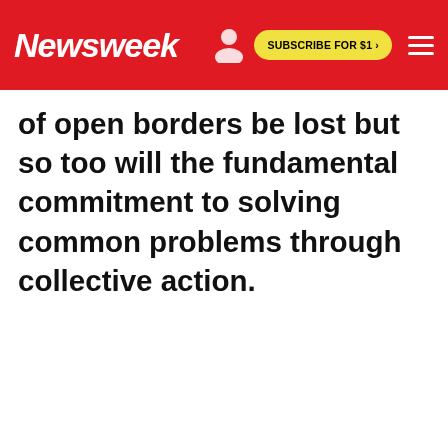Newsweek | SUBSCRIBE FOR $1 >
of open borders be lost but so too will the fundamental commitment to solving common problems through collective action.